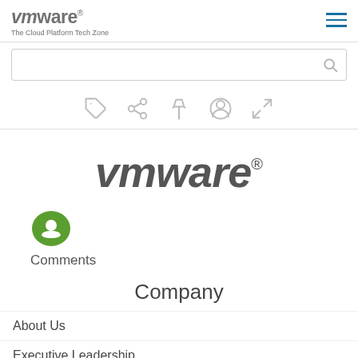vmware The Cloud Platform Tech Zone
[Figure (screenshot): Search bar with magnifying glass icon]
[Figure (infographic): Toolbar icons: tag, share, pin, comment/user, expand]
[Figure (logo): VMware logo large centered]
[Figure (infographic): Green comments icon with user silhouette]
Comments
Company
About Us
Executive Leadership
Newsroom